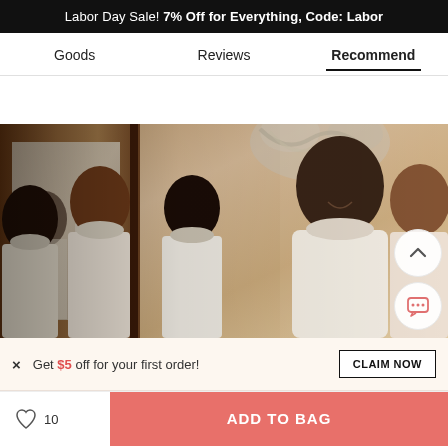Labor Day Sale! 7% Off for Everything, Code: Labor
Goods   Reviews   Recommend
[Figure (photo): Group photo of several women in white dresses, posed together indoors near an ornate silver mirror and a large framed picture on the wall.]
× Get $5 off for your first order! CLAIM NOW
♡ 10   ADD TO BAG